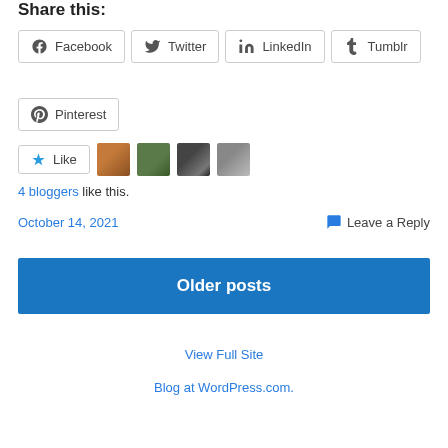Share this:
Facebook
Twitter
LinkedIn
Tumblr
Pinterest
4 bloggers like this.
October 14, 2021
Leave a Reply
Older posts
View Full Site
Blog at WordPress.com.